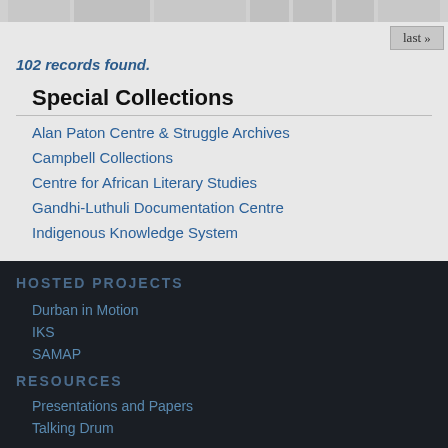102 records found.
Special Collections
Alan Paton Centre & Struggle Archives
Campbell Collections
Centre for African Literary Studies
Gandhi-Luthuli Documentation Centre
Indigenous Knowledge System
HOSTED PROJECTS
Durban in Motion
IKS
SAMAP
RESOURCES
Presentations and Papers
Talking Drum